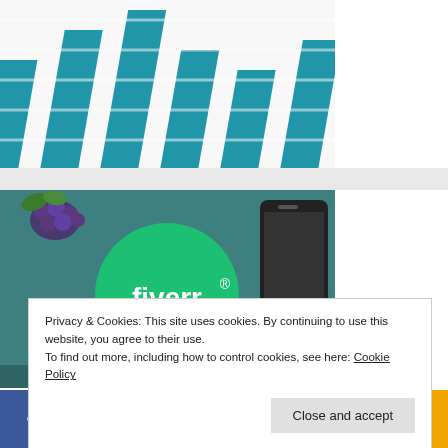[Figure (illustration): Partial bar chart image showing blue diagonal bars on white background, cropped at top]
[Figure (photo): Fiverr promotional image with green Fiverr logo circle, grapes, and smartphone on teal background]
Privacy & Cookies: This site uses cookies. By continuing to use this website, you agree to their use.
To find out more, including how to control cookies, see here: Cookie Policy
[Figure (infographic): Social media sharing bar with Facebook, Twitter, Pinterest, Mix, LinkedIn, Reddit, and share icons]